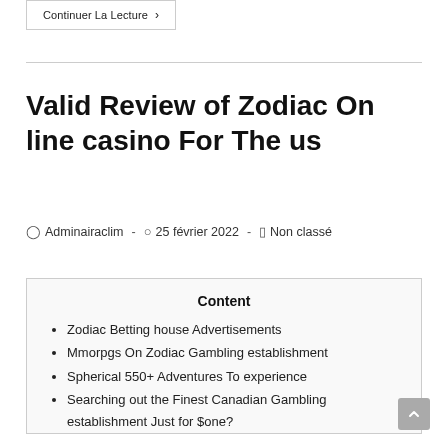Continuer La Lecture >
Valid Review of Zodiac On line casino For The us
Adminairaclim · 25 février 2022 · Non classé
Content
Zodiac Betting house Advertisements
Mmorpgs On Zodiac Gambling establishment
Spherical 550+ Adventures To experience
Searching out the Finest Canadian Gambling establishment Just for $one?